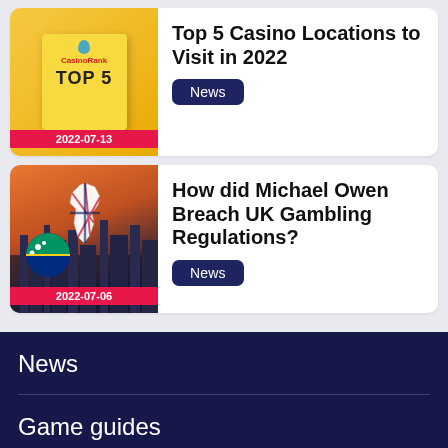[Figure (photo): Yellow sticky note with CasinoRank branding and 'TOP 5' text, with a teal pin at top, surrounded by photos in background]
Top 5 Casino Locations to Visit in 2022
News
2022-07-13
[Figure (photo): UK map illustration with Union Jack flag, Curacao flag, city skyline and orange/dark sky background]
How did Michael Owen Breach UK Gambling Regulations?
News
2022-07-06
News
Game guides